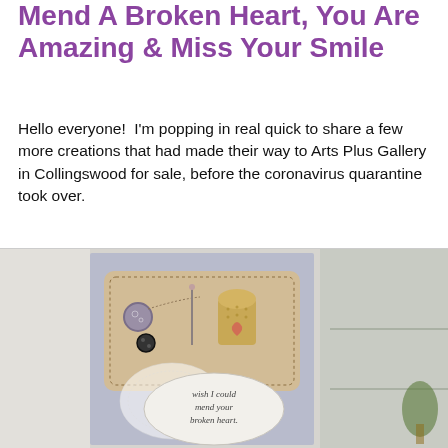Mend A Broken Heart, You Are Amazing & Miss Your Smile
Hello everyone!  I'm popping in real quick to share a few more creations that had made their way to Arts Plus Gallery in Collingswood for sale, before the coronavirus quarantine took over.
[Figure (photo): A handmade greeting card featuring a kraft-colored scalloped panel with buttons, a needle and thimble stamp image with a heart, and an oval tag reading 'wish I could mend your broken heart.' The card is placed on a light blue/grey background.]